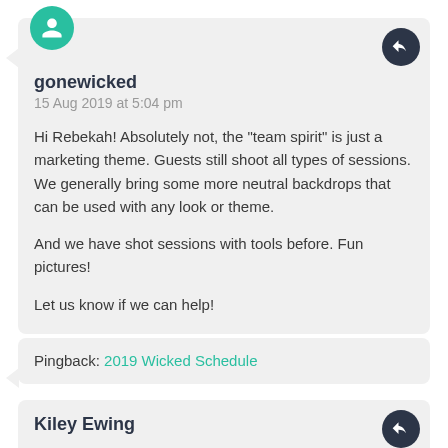gonewicked
15 Aug 2019 at 5:04 pm
Hi Rebekah! Absolutely not, the “team spirit” is just a marketing theme. Guests still shoot all types of sessions. We generally bring some more neutral backdrops that can be used with any look or theme.

And we have shot sessions with tools before. Fun pictures!

Let us know if we can help!
Pingback: 2019 Wicked Schedule
Kiley Ewing